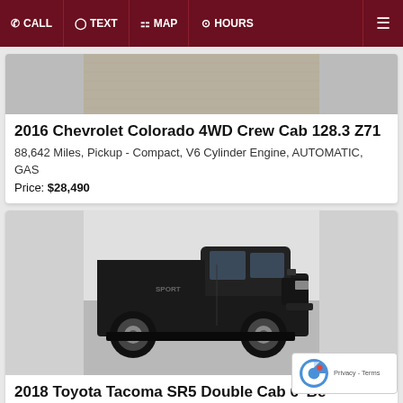CALL  TEXT  MAP  HOURS
[Figure (photo): Partial view of a vehicle interior carpet/floor area]
2016 Chevrolet Colorado 4WD Crew Cab 128.3 Z71
88,642 Miles, Pickup - Compact, V6 Cylinder Engine, AUTOMATIC, GAS
Price: $28,490
[Figure (photo): Black Toyota Tacoma SR5 Double Cab pickup truck, side profile view, parked indoors on gray carpet]
2018 Toyota Tacoma SR5 Double Cab 6' Be 4x4 AT